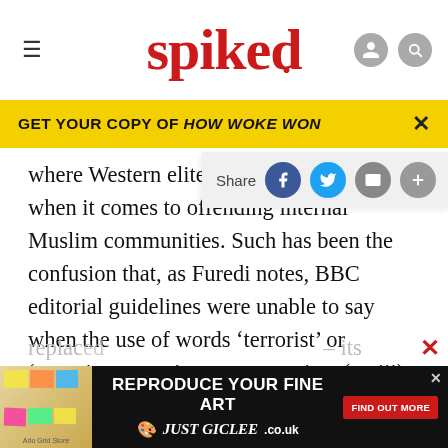spiked
GET YOUR COPY OF HOW WOKE WON
where Western elites are most i[nhibited] when it comes to offending internal Muslim communities. Such has been the confusion that, as Furedi notes, BBC editorial guidelines were unable to say when the use of words ‘terrorist’ or ‘terrorist groups’ were appropriate (p.viii). The US Homeland Security department, deciding that vagueness was the best policy, opted for ‘universal adversary’ (p.xiv). Little wonder then that the phrase ‘the long war’ has
replac[ed...] – its
ABOUT
[Figure (screenshot): Advertisement banner: REPRODUCE YOUR FINE ART JUST GICLEE.co.uk with FIND OUT MORE button]